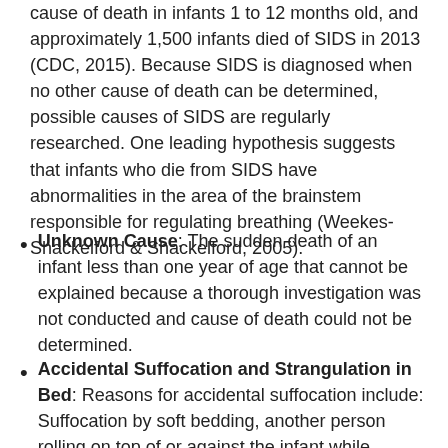cause of death in infants 1 to 12 months old, and approximately 1,500 infants died of SIDS in 2013 (CDC, 2015). Because SIDS is diagnosed when no other cause of death can be determined, possible causes of SIDS are regularly researched. One leading hypothesis suggests that infants who die from SIDS have abnormalities in the area of the brainstem responsible for regulating breathing (Weekes-Shackelford & Shackelford, 2005).
Unknown Cause: The sudden death of an infant less than one year of age that cannot be explained because a thorough investigation was not conducted and cause of death could not be determined.
Accidental Suffocation and Strangulation in Bed: Reasons for accidental suffocation include: Suffocation by soft bedding, another person rolling on top of or against the infant while sleeping, an infant being wedged between two